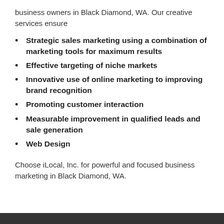business owners in Black Diamond, WA. Our creative services ensure
Strategic sales marketing using a combination of marketing tools for maximum results
Effective targeting of niche markets
Innovative use of online marketing to improving brand recognition
Promoting customer interaction
Measurable improvement in qualified leads and sale generation
Web Design
Choose iLocal, Inc. for powerful and focused business marketing in Black Diamond, WA.